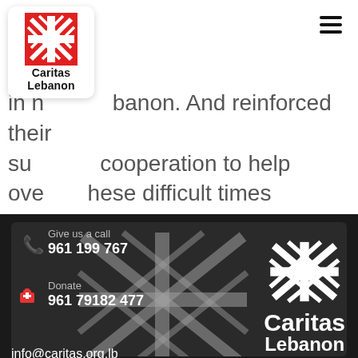[Figure (logo): Caritas Lebanon logo card with red cross snowflake symbol and bold text 'Caritas Lebanon' on white rounded card]
in n[...] banon. And reinforced their su[...] cooperation to help ove[...] these difficult times
[Figure (screenshot): Caritas Lebanon website footer on dark background showing contact phone number 961 199 767, donate number 961 79182 477, large white Caritas Lebanon logo, and partial email info@caritas.org.lb]